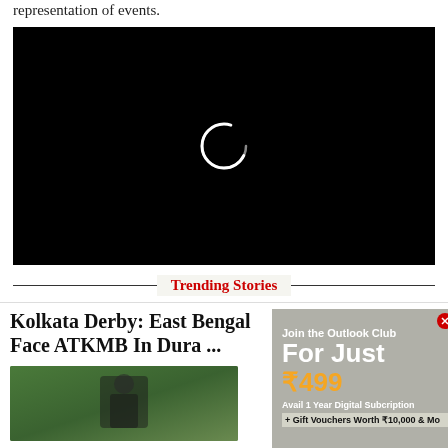representation of events.
[Figure (screenshot): Black video player with a white loading spinner ring in the center]
Trending Stories
Kolkata Derby: East Bengal Face ATKMB In Dura ...
[Figure (photo): Photo of a soccer/football player on green field]
[Figure (screenshot): Advertisement: Join the Outlook Club For Just ₹499. Avail 1 Year Digital Subcription + Gift Vouchers Worth ₹10,000 & Mo]